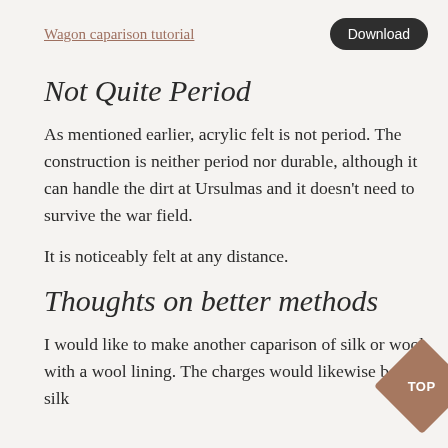Wagon caparison tutorial  Download
Not Quite Period
As mentioned earlier, acrylic felt is not period. The construction is neither period nor durable, although it can handle the dirt at Ursulmas and it doesn't need to survive the war field.
It is noticeably felt at any distance.
Thoughts on better methods
I would like to make another caparison of silk or wool with a wool lining. The charges would likewise be of silk